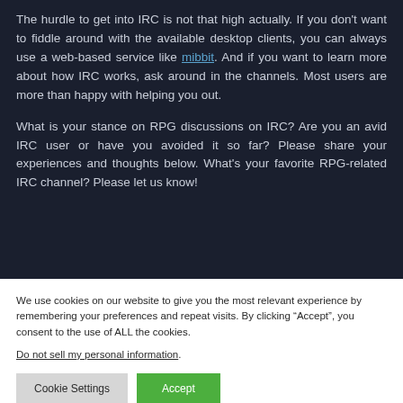The hurdle to get into IRC is not that high actually. If you don't want to fiddle around with the available desktop clients, you can always use a web-based service like mibbit. And if you want to learn more about how IRC works, ask around in the channels. Most users are more than happy with helping you out.
What is your stance on RPG discussions on IRC? Are you an avid IRC user or have you avoided it so far? Please share your experiences and thoughts below. What's your favorite RPG-related IRC channel? Please let us know!
We use cookies on our website to give you the most relevant experience by remembering your preferences and repeat visits. By clicking “Accept”, you consent to the use of ALL the cookies.
Do not sell my personal information.